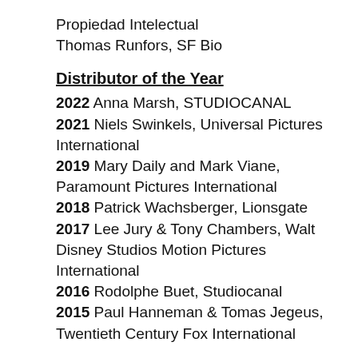Propiedad Intelectual
Thomas Runfors, SF Bio
Distributor of the Year
2022 Anna Marsh, STUDIOCANAL
2021 Niels Swinkels, Universal Pictures International
2019 Mary Daily and Mark Viane, Paramount Pictures International
2018 Patrick Wachsberger, Lionsgate
2017 Lee Jury & Tony Chambers, Walt Disney Studios Motion Pictures International
2016 Rodolphe Buet, Studiocanal
2015 Paul Hanneman & Tomas Jegeus, Twentieth Century Fox International